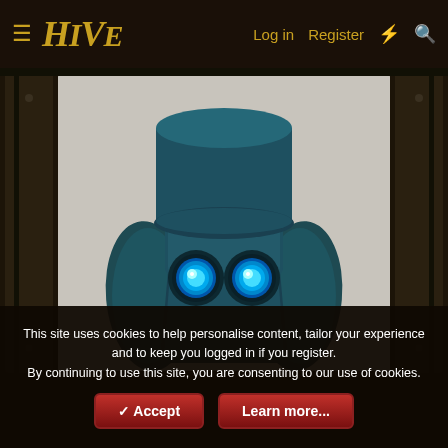≡ HIVE   Log in   Register   ⚡   🔍
[Figure (illustration): 3D rendered robot character with teal/dark blue textured body, cylindrical top hat shape, two glowing bright cyan circular eyes, and arm-like appendages on sides. Background is light grey. The robot faces forward with a blocky, chunky silhouette.]
This site uses cookies to help personalise content, tailor your experience and to keep you logged in if you register.
By continuing to use this site, you are consenting to our use of cookies.
✔ Accept   Learn more...